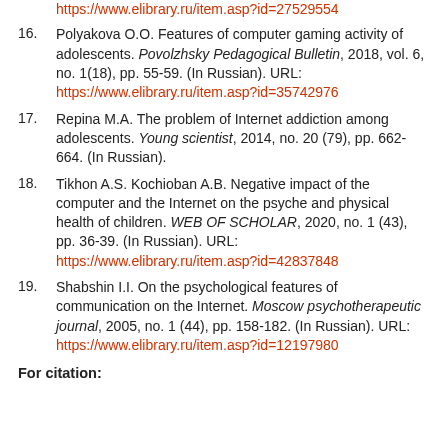https://www.elibrary.ru/item.asp?id=27529554
16. Polyakova O.O. Features of computer gaming activity of adolescents. Povolzhsky Pedagogical Bulletin, 2018, vol. 6, no. 1(18), pp. 55-59. (In Russian). URL: https://www.elibrary.ru/item.asp?id=35742976
17. Repina M.A. The problem of Internet addiction among adolescents. Young scientist, 2014, no. 20 (79), pp. 662-664. (In Russian).
18. Tikhon A.S. Kochioban A.B. Negative impact of the computer and the Internet on the psyche and physical health of children. WEB OF SCHOLAR, 2020, no. 1 (43), pp. 36-39. (In Russian). URL: https://www.elibrary.ru/item.asp?id=42837848
19. Shabshin I.I. On the psychological features of communication on the Internet. Moscow psychotherapeutic journal, 2005, no. 1 (44), pp. 158-182. (In Russian). URL: https://www.elibrary.ru/item.asp?id=12197980
For citation: